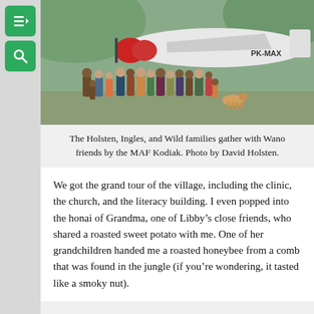[Figure (photo): Group photo of the Holsten, Ingles, and Wild families gathered with Wano friends beside a MAF Kodiak airplane (registration PK-MAX) on a rural airstrip with green hills in the background.]
The Holsten, Ingles, and Wild families gather with Wano friends by the MAF Kodiak. Photo by David Holsten.
We got the grand tour of the village, including the clinic, the church, and the literacy building. I even popped into the honai of Grandma, one of Libby’s close friends, who shared a roasted sweet potato with me. One of her grandchildren handed me a roasted honeybee from a comb that was found in the jungle (if you’re wondering, it tasted like a smoky nut).